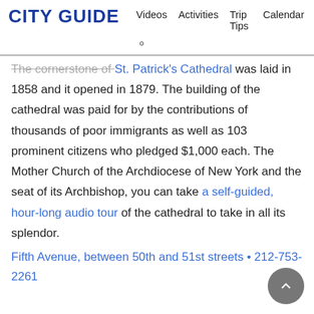CITY GUIDE | Videos  Activities  Trip Tips  Calendar
The cornerstone of St. Patrick's Cathedral was laid in 1858 and it opened in 1879. The building of the cathedral was paid for by the contributions of thousands of poor immigrants as well as 103 prominent citizens who pledged $1,000 each. The Mother Church of the Archdiocese of New York and the seat of its Archbishop, you can take a self-guided, hour-long audio tour of the cathedral to take in all its splendor.
Fifth Avenue, between 50th and 51st streets • 212-753-2261